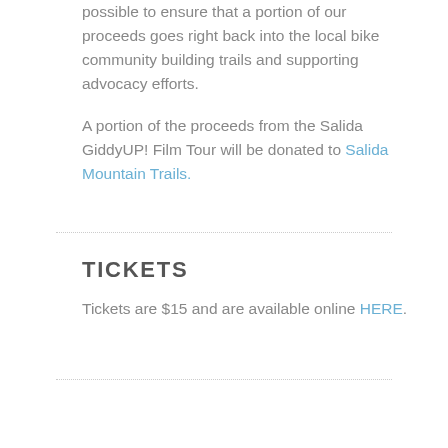possible to ensure that a portion of our proceeds goes right back into the local bike community building trails and supporting advocacy efforts.

A portion of the proceeds from the Salida GiddyUP! Film Tour will be donated to Salida Mountain Trails.
TICKETS
Tickets are $15 and are available online HERE.